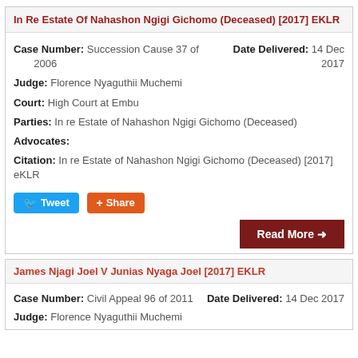In Re Estate Of Nahashon Ngigi Gichomo (Deceased) [2017] EKLR
Case Number: Succession Cause 37 of 2006   Date Delivered: 14 Dec 2017
Judge: Florence Nyaguthii Muchemi
Court: High Court at Embu
Parties: In re Estate of Nahashon Ngigi Gichomo (Deceased)
Advocates:
Citation: In re Estate of Nahashon Ngigi Gichomo (Deceased) [2017] eKLR
James Njagi Joel V Junias Nyaga Joel [2017] EKLR
Case Number: Civil Appeal 96 of 2011   Date Delivered: 14 Dec 2017
Judge: Florence Nyaguthii Muchemi